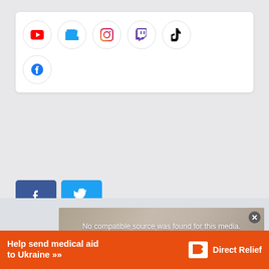[Figure (infographic): Social media icons panel with circular bordered icons: YouTube (red), Twitter (blue), Instagram (pink/purple gradient), Twitch (purple), TikTok (black), and Facebook (blue) on a white rounded rectangle.]
[Figure (infographic): Two share buttons side by side: a dark blue Facebook 'f' button and a light blue Twitter bird button.]
[Figure (infographic): Gray 'back to top' button with upward chevron arrow, anchored to right edge.]
[Figure (screenshot): Video player overlay with blurred/dark background image showing coins/medals, displaying the message 'No compatible source was found for this media.' with a close (X) button.]
No compatible source was found for this media.
[Figure (infographic): Orange advertisement banner reading 'Help send medical aid to Ukraine >>' with Direct Relief logo (white box icon and 'Direct Relief' text in white).]
Help send medical aid to Ukraine >>